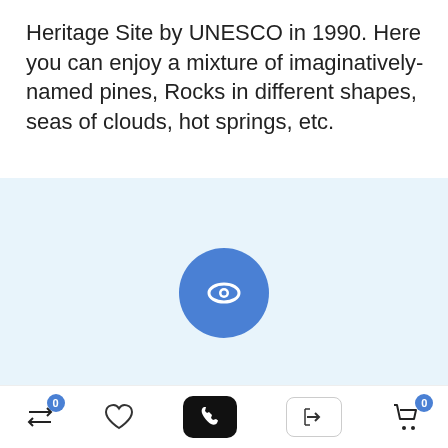Heritage Site by UNESCO in 1990. Here you can enjoy a mixture of imaginatively-named pines, Rocks in different shapes, seas of clouds, hot springs, etc.
[Figure (screenshot): Light blue preview area with a blue circle containing a white eye icon in the center, representing a video or image preview placeholder.]
[Figure (photo): Two partially visible thumbnail images side by side at the bottom of the preview area. Left thumbnail shows a blurred person, right thumbnail shows a person's face.]
[Figure (screenshot): Bottom navigation bar with icons: shuffle/compare with badge 0, heart/favorite, phone (black button), login arrow, and cart with badge 0.]